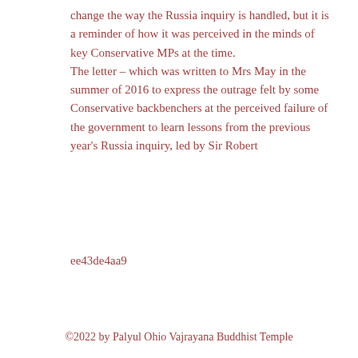change the way the Russia inquiry is handled, but it is a reminder of how it was perceived in the minds of key Conservative MPs at the time.
The letter – which was written to Mrs May in the summer of 2016 to express the outrage felt by some Conservative backbenchers at the perceived failure of the government to learn lessons from the previous year's Russia inquiry, led by Sir Robert
ee43de4aa9
©2022 by Palyul Ohio Vajrayana Buddhist Temple